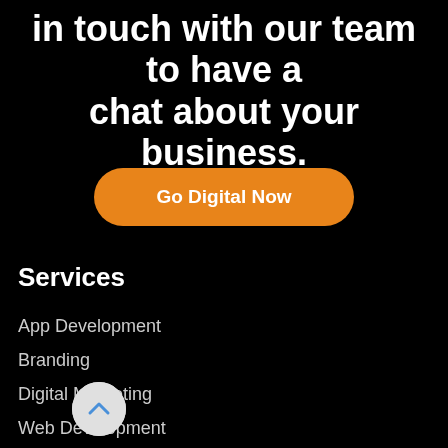in touch with our team to have a chat about your business.
Go Digital Now
Services
App Development
Branding
Digital Marketing
Web Development
[Figure (illustration): Circular scroll-up button with a chevron arrow icon]